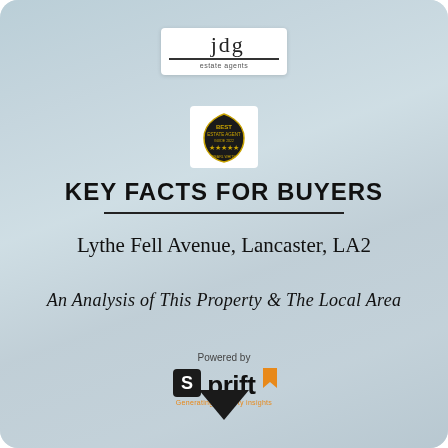[Figure (logo): JDG estate agency logo with 'jdg' text and horizontal line, plus a 'Best' award badge below]
KEY FACTS FOR BUYERS
Lythe Fell Avenue, Lancaster, LA2
An Analysis of This Property & The Local Area
[Figure (logo): Powered by Sprift logo with orange and black branding and tagline 'Generating property insights']
[Figure (other): Down-pointing arrow navigation indicator]